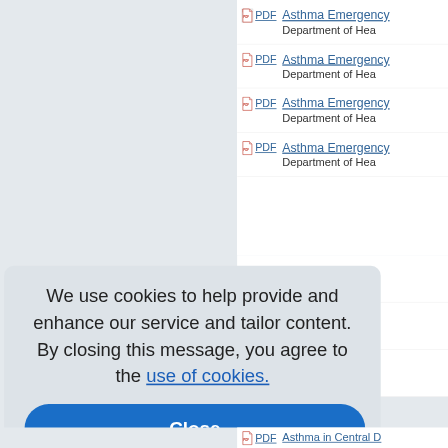PDF  Asthma Emergency... Department of Hea...
PDF  Asthma Emergency... Department of Hea...
PDF  Asthma Emergency... Department of Hea...
PDF  Asthma Emergency... Department of Hea...
We use cookies to help provide and enhance our service and tailor content. By closing this message, you agree to the use of cookies.
Close
Emergency... ment of Hea...
Emergency... ment of Hea...
in Aroosto... Center for D...
PDF  Asthma in Central D...